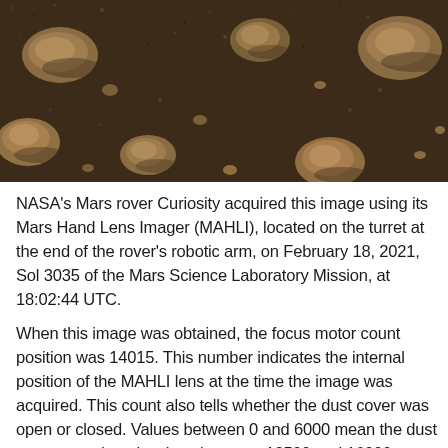[Figure (photo): Close-up photograph of Martian surface showing dark sandy/gravelly soil with several tan/brownish rocks of various sizes scattered across the frame. Image taken by NASA Curiosity rover's MAHLI camera.]
NASA's Mars rover Curiosity acquired this image using its Mars Hand Lens Imager (MAHLI), located on the turret at the end of the rover's robotic arm, on February 18, 2021, Sol 3035 of the Mars Science Laboratory Mission, at 18:02:44 UTC.
When this image was obtained, the focus motor count position was 14015. This number indicates the internal position of the MAHLI lens at the time the image was acquired. This count also tells whether the dust cover was open or closed. Values between 0 and 6000 mean the dust cover was closed; values between 12500 and 16000 occur when the cover is open. For close-up images, the motor count can in some cases be used to estimate the distance between the MAHLI lens and target. For example, in-focus images obtained with the dust cover open for which the lens